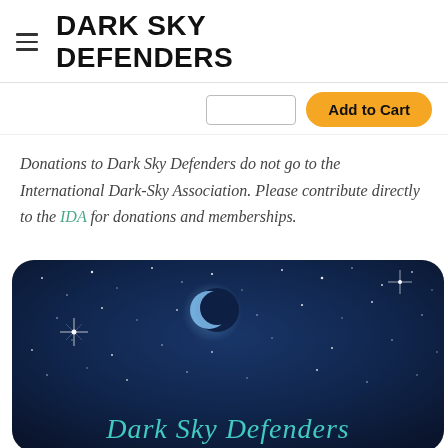DARK SKY DEFENDERS
Add to Cart
Donations to Dark Sky Defenders do not go to the International Dark-Sky Association. Please contribute directly to the IDA for donations and memberships.
[Figure (illustration): A dark navy night sky with stars, crescent moon, and 'Dark Sky Defenders' text in teal cursive, shown on a rounded-corner card/product image.]